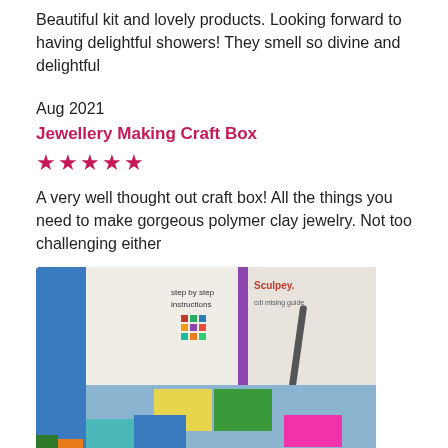Beautiful kit and lovely products. Looking forward to having delightful showers! They smell so divine and delightful
Aug 2021
Jewellery Making Craft Box
★★★★★
A very well thought out craft box! All the things you need to make gorgeous polymer clay jewelry. Not too challenging either
[Figure (photo): Photo of an open cardboard box containing polymer clay jewellery making kit with step by step instructions card, Sculpey branding, colourful clay blocks (blue, yellow, green, teal), a pen, pink block, and various accessories]